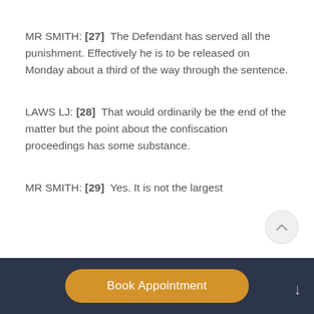MR SMITH: [27]  The Defendant has served all the punishment. Effectively he is to be released on Monday about a third of the way through the sentence.
LAWS LJ: [28]  That would ordinarily be the end of the matter but the point about the confiscation proceedings has some substance.
MR SMITH: [29]  Yes. It is not the largest
Book Appointment